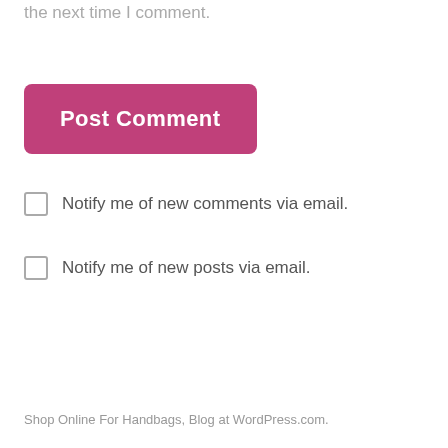Save my name, email, and website in this browser for the next time I comment.
[Figure (other): Pink 'Post Comment' button with rounded corners]
Notify me of new comments via email.
Notify me of new posts via email.
Shop Online For Handbags, Blog at WordPress.com.